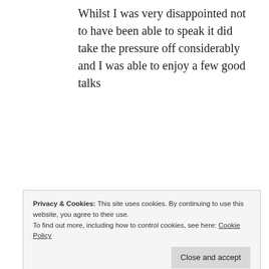Whilst I was very disappointed not to have been able to speak it did take the pressure off considerably and I was able to enjoy a few good talks
[Figure (photo): A person presenting at a conference in front of a projector screen showing a scatter-plot style diagram on an orange/brown background. Wooden paneled walls visible. A podium is on the right side.]
Privacy & Cookies: This site uses cookies. By continuing to use this website, you agree to their use.
To find out more, including how to control cookies, see here: Cookie Policy
Close and accept
(jayvad and Stephen Bonner